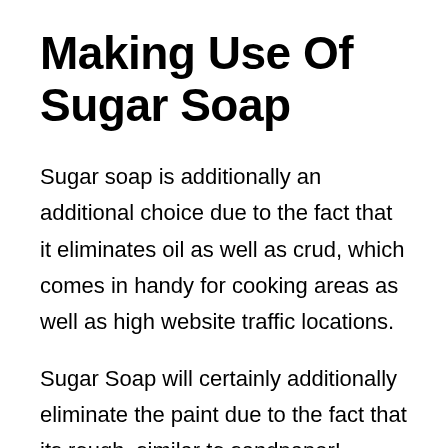Making Use Of Sugar Soap
Sugar soap is additionally an additional choice due to the fact that it eliminates oil as well as crud, which comes in handy for cooking areas as well as high website traffic locations.
Sugar Soap will certainly additionally eliminate the paint due to the fact that its rough, similar to sandpaper!